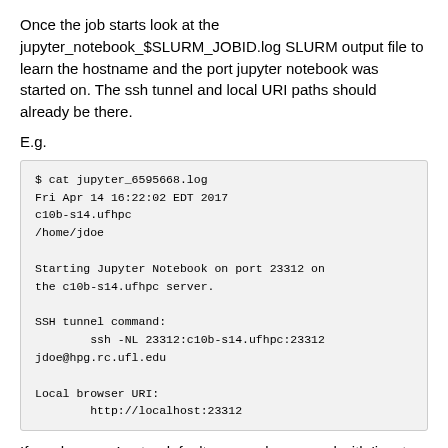Once the job starts look at the jupyter_notebook_$SLURM_JOBID.log SLURM output file to learn the hostname and the port jupyter notebook was started on. The ssh tunnel and local URI paths should already be there.
E.g.
$ cat jupyter_6595668.log
Fri Apr 14 16:22:02 EDT 2017
c10b-s14.ufhpc
/home/jdoe

Starting Jupyter Notebook on port 23312 on
the c10b-s14.ufhpc server.

SSH tunnel command:
        ssh -NL 23312:c10b-s14.ufhpc:23312
jdoe@hpg.rc.ufl.edu

Local browser URI:
        http://localhost:23312
If you have not set a default personal password with 'jupyter-